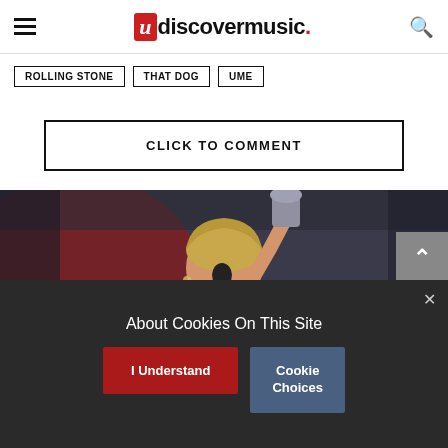uDiscoverMusic
ROLLING STONE
THAT DOG
UME
CLICK TO COMMENT
[Figure (photo): A woman holding a glittery award trophy above her head near a microphone on a dark stage with red lighting background]
About Cookies On This Site
I Understand
Cookie Choices